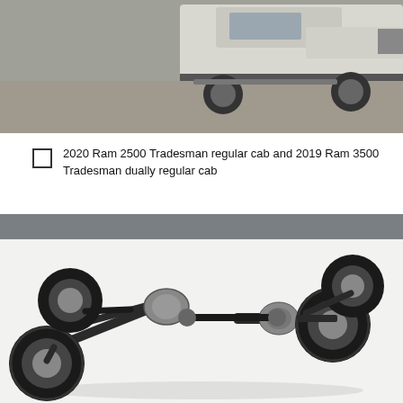[Figure (photo): Partial view of a Ram truck (cab/chassis area) photographed from a low angle on a gravel surface, showing the undercarriage and side of the vehicle.]
2020 Ram 2500 Tradesman regular cab and 2019 Ram 3500 Tradesman dually regular cab
[Figure (photo): Engineering product photo of a four-wheel drive axle and driveshaft assembly on a white background, showing two solid axles connected by a driveshaft with universal joints, with large off-road tires mounted on each end.]